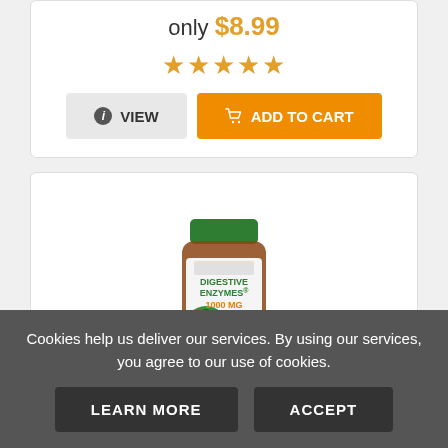only $8.99
★★★★★
VIEW
ADD TO CART
[Figure (photo): Bottle of Digestive Enzymes 1000MG Plus supplement with green cap and label showing DIGESTIVE ENZYMES 1000 MG, 180 capsules]
Digestive Enzymes 1000MG Plus
Cookies help us deliver our services. By using our services, you agree to our use of cookies.
LEARN MORE
ACCEPT